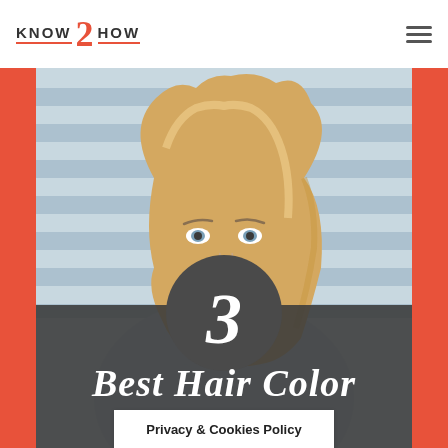KNOW 2 HOW
[Figure (photo): Young blonde woman with wavy hair wearing a light blue turtleneck sweater, posing against a striped background. A dark circle with the number 3 overlays the lower center of the image. Below is a dark semi-transparent bar with the text 'Best Hair Color Trends For 2018'.]
Best Hair Color
Trends For 2018
Privacy & Cookies Policy